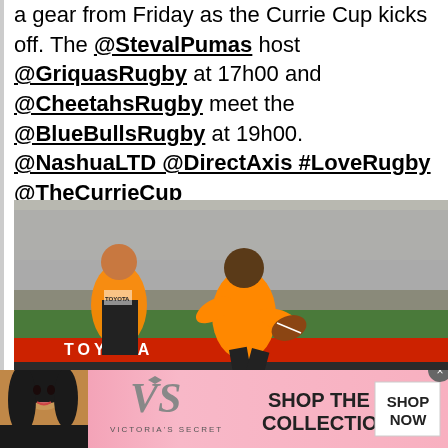a gear from Friday as the Currie Cup kicks off. The @StevalPumas host @GriquasRugby at 17h00 and @CheetahsRugby meet the @BlueBullsRugby at 19h00. @NashuaLTD @DirectAxis #LoveRugby @TheCurrieCup
[Figure (photo): Two side-by-side rugby action photos: left shows Cheetahs players in orange jerseys running with the ball with a TOYOTA advertising board visible; right shows a Blue Bulls player in light blue jersey running with the ball]
[Figure (photo): Victoria's Secret advertisement banner with a woman model on the left, VS logo in center, 'SHOP THE COLLECTION' text, and a 'SHOP NOW' button on the right, pink background]